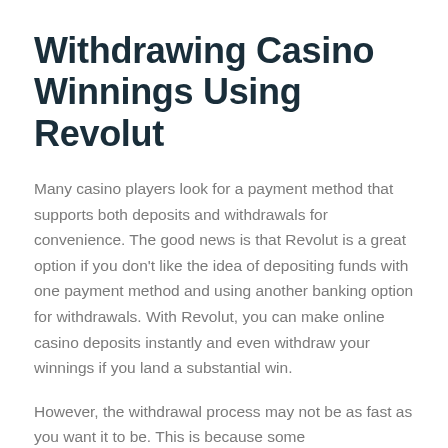Withdrawing Casino Winnings Using Revolut
Many casino players look for a payment method that supports both deposits and withdrawals for convenience. The good news is that Revolut is a great option if you don't like the idea of depositing funds with one payment method and using another banking option for withdrawals. With Revolut, you can make online casino deposits instantly and even withdraw your winnings if you land a substantial win.
However, the withdrawal process may not be as fast as you want it to be. This is because some